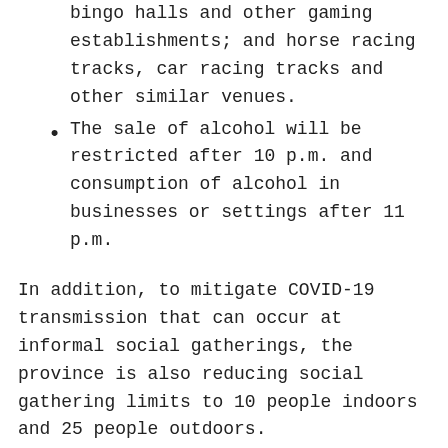venues, theatres and cinemas, casinos, bingo halls and other gaming establishments; and horse racing tracks, car racing tracks and other similar venues.
The sale of alcohol will be restricted after 10 p.m. and consumption of alcohol in businesses or settings after 11 p.m.
In addition, to mitigate COVID-19 transmission that can occur at informal social gatherings, the province is also reducing social gathering limits to 10 people indoors and 25 people outdoors.
These restrictions will come into effect on 12:01 a.m. on Sunday, December 19, 2021.
“This was not an easy decision to make before the holidays, but the evidence is clear that